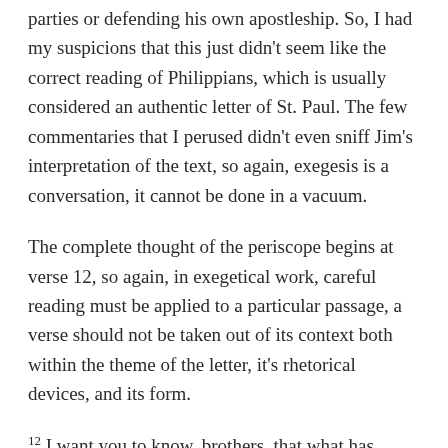parties or defending his own apostleship. So, I had my suspicions that this just didn't seem like the correct reading of Philippians, which is usually considered an authentic letter of St. Paul. The few commentaries that I perused didn't even sniff Jim's interpretation of the text, so again, exegesis is a conversation, it cannot be done in a vacuum.
The complete thought of the periscope begins at verse 12, so again, in exegetical work, careful reading must be applied to a particular passage, a verse should not be taken out of its context both within the theme of the letter, it's rhetorical devices, and its form.
12 I want you to know, brothers, that what has happened to me has really served to advance the